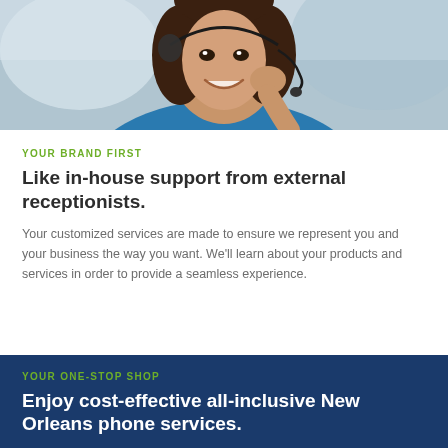[Figure (photo): A smiling woman with dark hair wearing a headset and blue top, photographed from a slightly upward angle against a blurred background.]
YOUR BRAND FIRST
Like in-house support from external receptionists.
Your customized services are made to ensure we represent you and your business the way you want. We'll learn about your products and services in order to provide a seamless experience.
YOUR ONE-STOP SHOP
Enjoy cost-effective all-inclusive New Orleans phone services.